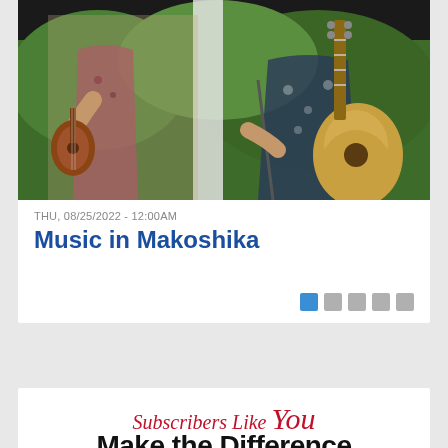[Figure (photo): Two musicians playing instruments outdoors — a woman in a floral dress playing a ukulele on the left, and a person in a patterned shirt playing an acoustic guitar on the right, with green foliage in the background.]
THU, 08/25/2022 - 12:00AM
Music in Makoshika
[Figure (other): Pagination indicator with 5 squares — the first is blue (active), the remaining four are gray.]
[Figure (infographic): Subscription promotion banner. Text reads: 'Subscribers Like You Make the Difference' in stylized red cursive and bold black serif. Below: 'Subscribe for full access to the Ranger-Review news starting at']
Subscribe for full access to the Ranger-Review news starting at